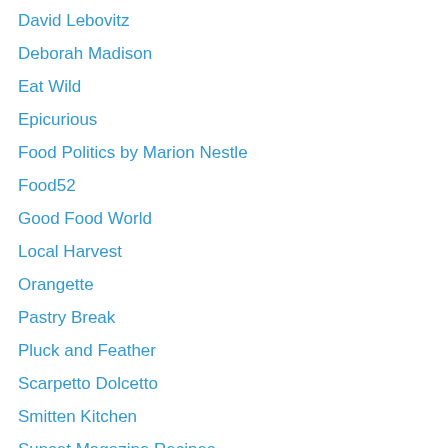David Lebovitz
Deborah Madison
Eat Wild
Epicurious
Food Politics by Marion Nestle
Food52
Good Food World
Local Harvest
Orangette
Pastry Break
Pluck and Feather
Scarpetto Dolcetto
Smitten Kitchen
Sunset Magazine Recipes
Tea and Cookies
The Wednesday Chef
Wood-Fired Hubby